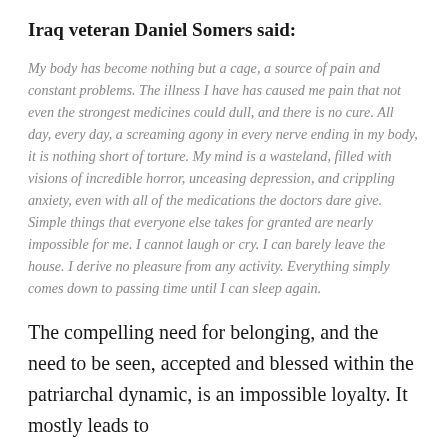Iraq veteran Daniel Somers said:
My body has become nothing but a cage, a source of pain and constant problems. The illness I have has caused me pain that not even the strongest medicines could dull, and there is no cure. All day, every day, a screaming agony in every nerve ending in my body, it is nothing short of torture. My mind is a wasteland, filled with visions of incredible horror, unceasing depression, and crippling anxiety, even with all of the medications the doctors dare give. Simple things that everyone else takes for granted are nearly impossible for me. I cannot laugh or cry. I can barely leave the house. I derive no pleasure from any activity. Everything simply comes down to passing time until I can sleep again.
The compelling need for belonging, and the need to be seen, accepted and blessed within the patriarchal dynamic, is an impossible loyalty. It mostly leads to